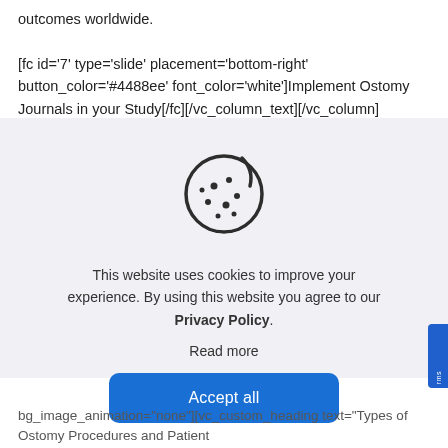outcomes worldwide. [fc id='7' type='slide' placement='bottom-right' button_color='#4488ee' font_color='white']Implement Ostomy Journals in your Study[/fc][/vc_column_text][/vc_column][/vc_row][vc_row type="in_container" full_screen_row_position="middle"
[Figure (screenshot): Cookie consent dialog overlay with a cookie icon, message about website cookie usage, a 'Read more' link, and an 'Accept all' button on a light gray background.]
bg_image_animation="none"][vc_custom_heading text="Types of Ostomy Procedures and Patient